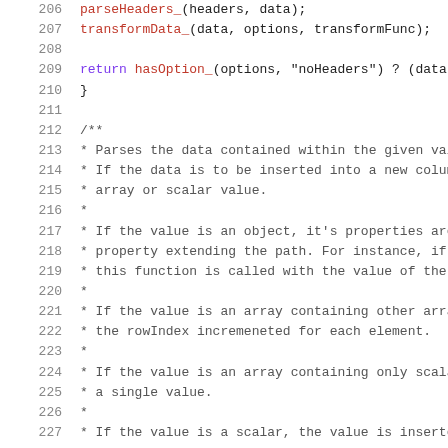Code listing lines 206-227, JavaScript source code with JSDoc comments
206    parseHeaders_(headers, data);
207    transformData_(data, options, transformFunc);
208
209    return hasOption_(options, "noHeaders") ? (data
210  }
211
212  /**
213  * Parses the data contained within the given valu
214  * If the data is to be inserted into a new column
215  * array or scalar value.
216  *
217  * If the value is an object, it's properties are
218  * property extending the path. For instance, if t
219  * this function is called with the value of the e
220  *
221  * If the value is an array containing other array
222  * the rowIndex incremeneted for each element.
223  *
224  * If the value is an array containing only scalar
225  * a single value.
226  *
227  * If the value is a scalar, the value is inserted